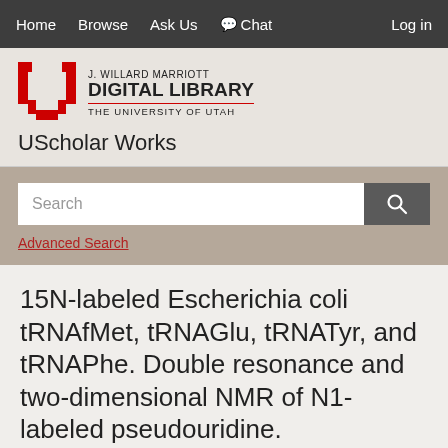Home   Browse   Ask Us   Chat   Log in
[Figure (logo): J. Willard Marriott Digital Library, The University of Utah logo with red U symbol]
UScholar Works
Search
Advanced Search
15N-labeled Escherichia coli tRNAfMet, tRNAGlu, tRNATyr, and tRNAPhe. Double resonance and two-dimensional NMR of N1-labeled pseudouridine.
Download File | Share | Reference URL